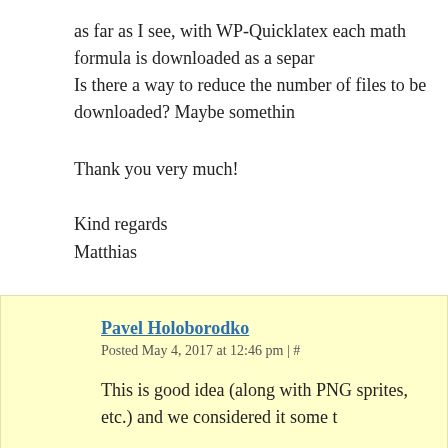as far as I see, with WP-Quicklatex each math formula is downloaded as a separ... Is there a way to reduce the number of files to be downloaded? Maybe somethin...
Thank you very much!
Kind regards
Matthias
Pavel Holoborodko
Posted May 4, 2017 at 12:46 pm | #
This is good idea (along with PNG sprites, etc.) and we considered it some t...
However, looking over WordPress landscape we think that these kind of opt... etc.) which optimize the website as a whole.
This have sense as every website might have different set of plugins, CSS... coming from different plugins) into one sprite, concatenating all CSS & scri...